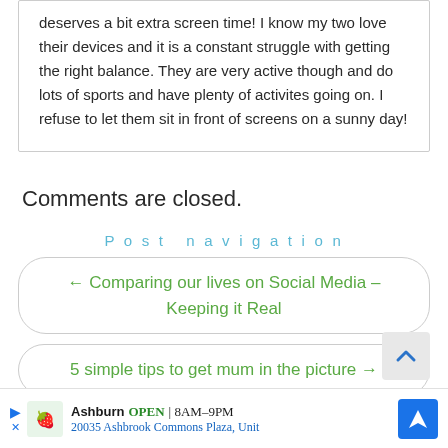deserves a bit extra screen time! I know my two love their devices and it is a constant struggle with getting the right balance. They are very active though and do lots of sports and have plenty of activites going on. I refuse to let them sit in front of screens on a sunny day!
Comments are closed.
Post navigation
← Comparing our lives on Social Media – Keeping it Real
5 simple tips to get mum in the picture →
Ashburn OPEN 8AM–9PM 20035 Ashbrook Commons Plaza, Unit